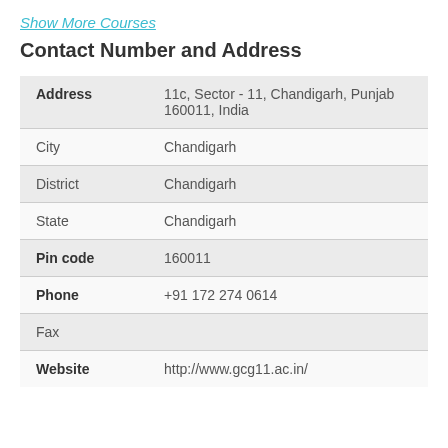Show More Courses
Contact Number and Address
| Field | Value |
| --- | --- |
| Address | 11c, Sector - 11, Chandigarh, Punjab 160011, India |
| City | Chandigarh |
| District | Chandigarh |
| State | Chandigarh |
| Pin code | 160011 |
| Phone | +91 172 274 0614 |
| Fax |  |
| Website | http://www.gcg11.ac.in/ |